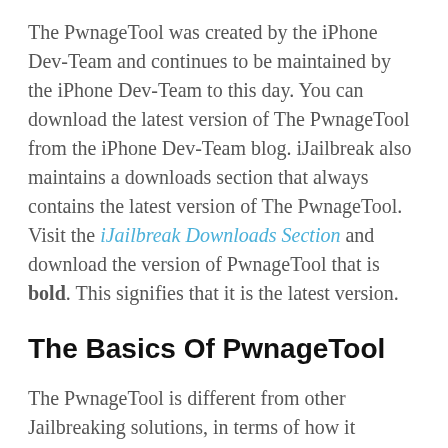The PwnageTool was created by the iPhone Dev-Team and continues to be maintained by the iPhone Dev-Team to this day. You can download the latest version of The PwnageTool from the iPhone Dev-Team blog. iJailbreak also maintains a downloads section that always contains the latest version of The PwnageTool. Visit the iJailbreak Downloads Section and download the version of PwnageTool that is bold. This signifies that it is the latest version.
The Basics Of PwnageTool
The PwnageTool is different from other Jailbreaking solutions, in terms of how it Jailbreaks your iPhone, iPod Touch, iPad or